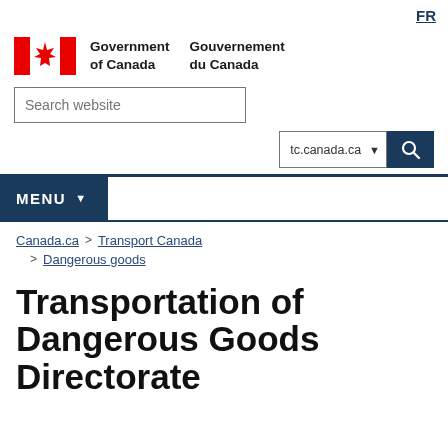FR
[Figure (logo): Government of Canada / Gouvernement du Canada bilingual logo with Canadian flag (red maple leaf)]
[Figure (screenshot): Search website input box and tc.canada.ca site selector with search button]
MENU
Canada.ca > Transport Canada > Dangerous goods
Transportation of Dangerous Goods Directorate